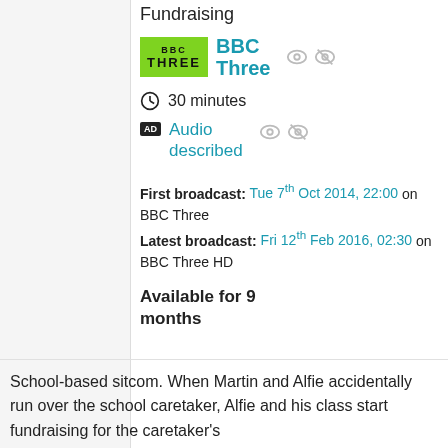Fundraising
[Figure (logo): BBC Three green logo badge with 'BBC THREE' text in black on lime green background]
BBC Three
30 minutes
Audio described
First broadcast: Tue 7th Oct 2014, 22:00 on BBC Three
Latest broadcast: Fri 12th Feb 2016, 02:30 on BBC Three HD
Available for 9 months
School-based sitcom. When Martin and Alfie accidentally run over the school caretaker, Alfie and his class start fundraising for the caretaker's